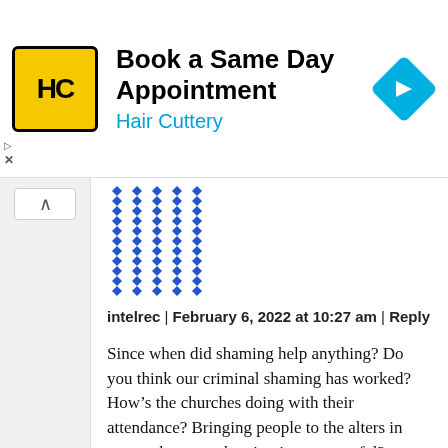[Figure (screenshot): Hair Cuttery advertisement banner with yellow HC logo, 'Book a Same Day Appointment' text, and a blue diamond navigation icon]
[Figure (illustration): Blue and white geometric mosaic/avatar image used as commenter profile picture]
intelrec | February 6, 2022 at 10:27 am | Reply
Since when did shaming help anything? Do you think our criminal shaming has worked? How’s the churches doing with their attendance? Bringing people to the alters in masses because shaming is so succesful? Ludicrous!
Obesity has a myriad of causes and complications...not the least of which is a